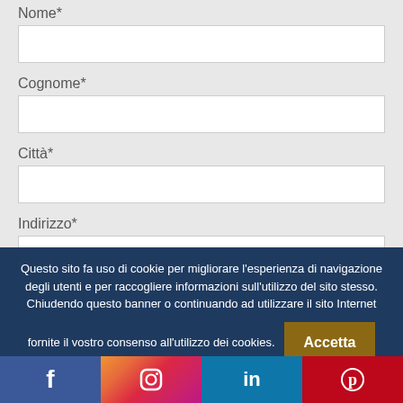Nome*
Cognome*
Città*
Indirizzo*
Telefono*
Questo sito fa uso di cookie per migliorare l'esperienza di navigazione degli utenti e per raccogliere informazioni sull'utilizzo del sito stesso. Chiudendo questo banner o continuando ad utilizzare il sito Internet fornite il vostro consenso all'utilizzo dei cookies.
Accetta
Rifiuta
Clicca Qui
[Figure (infographic): Social media bar with Facebook, Instagram, LinkedIn, Pinterest icons]